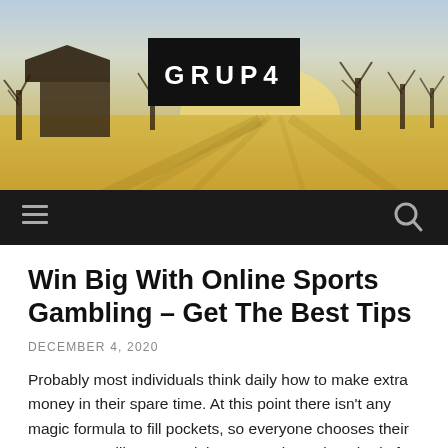[Figure (photo): Website header with a rural landscape photo showing a barn, bare trees, and golden sunlit field. Centered black banner with white bold text 'GRUP4'. Below is a dark navigation bar with a hamburger menu icon on the left and a search icon on the right.]
Win Big With Online Sports Gambling – Get The Best Tips
DECEMBER 4, 2020
Probably most individuals think daily how to make extra money in their spare time. At this point there isn't any magic formula to fill pockets, so everyone chooses their own way. I will try to explain you a universal method of making extra money. It bases on chance, luck and